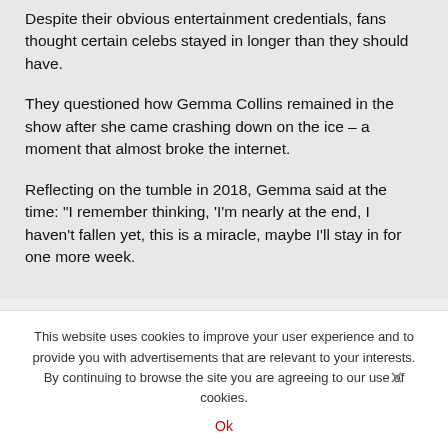Despite their obvious entertainment credentials, fans thought certain celebs stayed in longer than they should have.
They questioned how Gemma Collins remained in the show after she came crashing down on the ice – a moment that almost broke the internet.
Reflecting on the tumble in 2018, Gemma said at the time: "I remember thinking, 'I'm nearly at the end, I haven't fallen yet, this is a miracle, maybe I'll stay in for one more week.
This website uses cookies to improve your user experience and to provide you with advertisements that are relevant to your interests. By continuing to browse the site you are agreeing to our use of cookies.
Ok